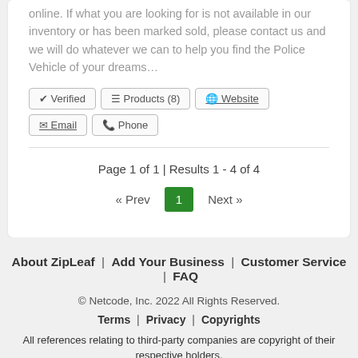online. If what you are looking for is not available in our inventory or has been marked sold, please contact us and we will do whatever we can to help you find the Police Vehicle of your dreams…
✔ Verified  ☰ Products (8)  🌐 Website  ✉ Email  📞 Phone
Page 1 of 1 | Results 1 - 4 of 4
« Prev  1  Next »
About ZipLeaf  |  Add Your Business  |  Customer Service  |  FAQ
© Netcode, Inc. 2022 All Rights Reserved.
Terms  |  Privacy  |  Copyrights
All references relating to third-party companies are copyright of their respective holders.